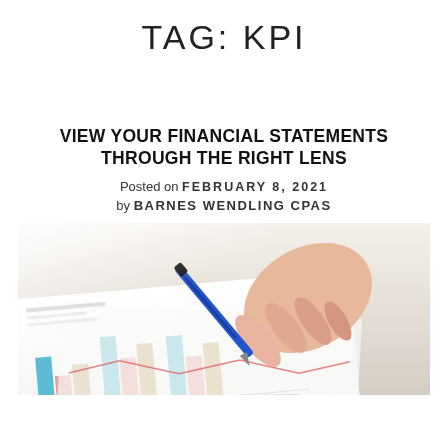TAG: KPI
VIEW YOUR FINANCIAL STATEMENTS THROUGH THE RIGHT LENS
Posted on FEBRUARY 8, 2021
by BARNES WENDLING CPAS
[Figure (photo): A hand holding a blue pen pointing at a bar chart on paper, financial statements review image]